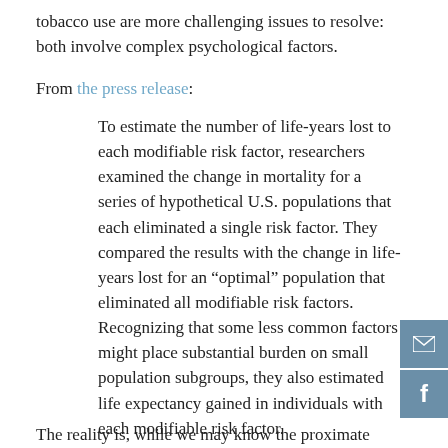tobacco use are more challenging issues to resolve: both involve complex psychological factors.
From the press release:
To estimate the number of life-years lost to each modifiable risk factor, researchers examined the change in mortality for a series of hypothetical U.S. populations that each eliminated a single risk factor. They compared the results with the change in life-years lost for an “optimal” population that eliminated all modifiable risk factors. Recognizing that some less common factors might place substantial burden on small population subgroups, they also estimated life expectancy gained in individuals with each modifiable risk factor.
The reality is, while we may know the proximate